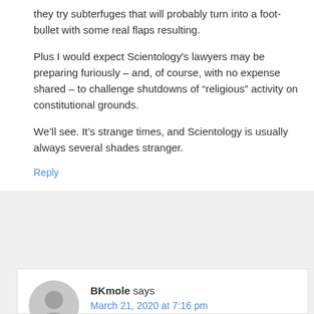they try subterfuges that will probably turn into a foot-bullet with some real flaps resulting.
Plus I would expect Scientology's lawyers may be preparing furiously – and, of course, with no expense shared – to challenge shutdowns of “religious” activity on constitutional grounds.
We’ll see. It’s strange times, and Scientology is usually always several shades stranger.
Reply
BKmole says
March 21, 2020 at 7:16 pm